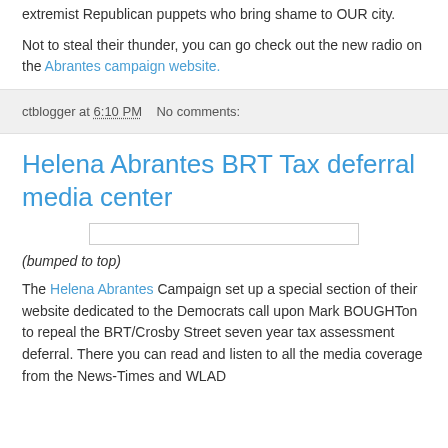extremist Republican puppets who bring shame to OUR city.
Not to steal their thunder, you can go check out the new radio on the Abrantes campaign website.
ctblogger at 6:10 PM   No comments:
Helena Abrantes BRT Tax deferral media center
(bumped to top)
The Helena Abrantes Campaign set up a special section of their website dedicated to the Democrats call upon Mark BOUGHTon to repeal the BRT/Crosby Street seven year tax assessment deferral. There you can read and listen to all the media coverage from the News-Times and WLAD